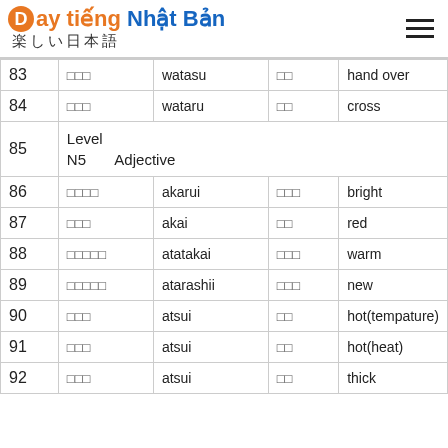Dạy tiếng Nhật Bản 楽しい日本語
| # | Kana | Romaji | Kanji | Meaning |
| --- | --- | --- | --- | --- |
| 83 | □□□ | watasu | □□ | hand over |
| 84 | □□□ | wataru | □□ | cross |
| 85 | Level N5 | Adjective |  |  |
| 86 | □□□□ | akarui | □□□ | bright |
| 87 | □□□ | akai | □□ | red |
| 88 | □□□□□ | atatakai | □□□ | warm |
| 89 | □□□□□ | atarashii | □□□ | new |
| 90 | □□□ | atsui | □□ | hot(tempature) |
| 91 | □□□ | atsui | □□ | hot(heat) |
| 92 | □□□ | atsui | □□ | thick |